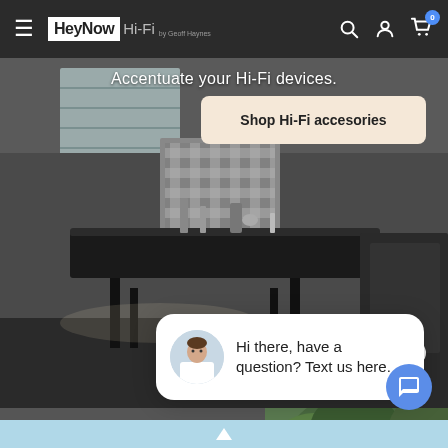HeyNow Hi-Fi by Geoff Haynes — navigation bar with search, account, and cart icons
[Figure (photo): Hi-Fi equipment showroom photo with dark table displaying audio devices, with text overlay 'Accentuate your Hi-Fi devices.' and a beige 'Shop Hi-Fi accesories' button]
Accentuate your Hi-Fi devices.
Shop Hi-Fi accesories
close
Hi there, have a question? Text us here.
Upgrade your favorite movies, tv shows Netflix experience.